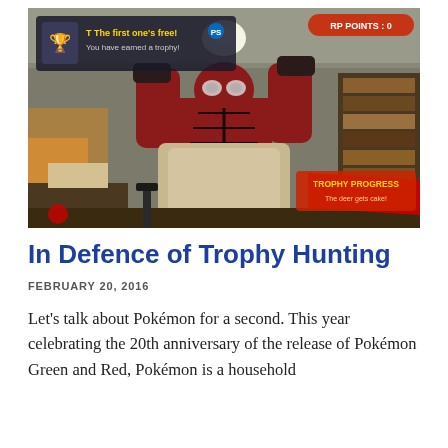[Figure (screenshot): A video game screenshot showing Deadpool character with arms raised in a living room scene, with trophy UI overlay elements showing 'The first one's free! You have earned a trophy!' and 'TROPHY PROGRESS' text on screen.]
In Defence of Trophy Hunting
FEBRUARY 20, 2016
Let's talk about Pokémon for a second. This year celebrating the 20th anniversary of the release of Pokémon Green and Red, Pokémon is a household